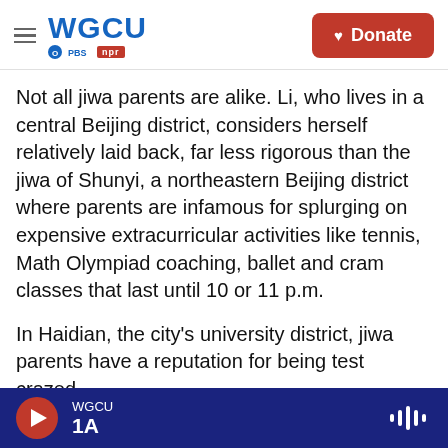WGCU PBS NPR — Donate
Not all jiwa parents are alike. Li, who lives in a central Beijing district, considers herself relatively laid back, far less rigorous than the jiwa of Shunyi, a northeastern Beijing district where parents are infamous for splurging on expensive extracurricular activities like tennis, Math Olympiad coaching, ballet and cram classes that last until 10 or 11 p.m.
In Haidian, the city's university district, jiwa parents have a reputation for being test crazed.
"I have encountered some Haidian jiwa before. They are kind of desperate," says Li. "They care
WGCU 1A